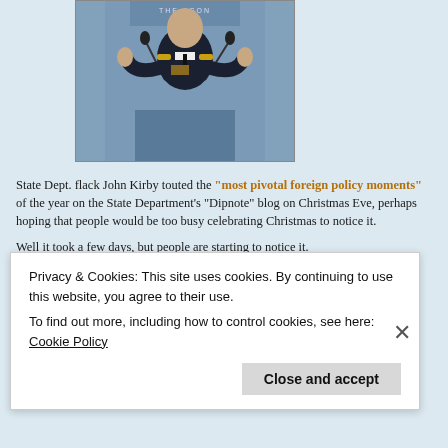[Figure (photo): A U.S. Navy officer (John Kirby) in dress uniform speaking at a Pentagon podium with microphones, hands raised, partial Pentagon seal visible above.]
State Dept. flack John Kirby touted the "most pivotal foreign policy moments" of the year on the State Department's "Dipnote" blog on Christmas Eve, perhaps hoping that people would be too busy celebrating Christmas to notice it.
Well it took a few days, but people are starting to notice it.
All the "pivotal moments listed" are worthy of special scorn and deris…ia…
Privacy & Cookies: This site uses cookies. By continuing to use this website, you agree to their use.
To find out more, including how to control cookies, see here: Cookie Policy